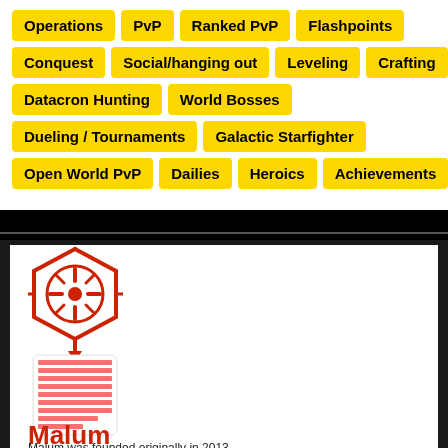Operations
PvP
Ranked PvP
Flashpoints
Conquest
Social/hanging out
Leveling
Crafting
Datacron Hunting
World Bosses
Dueling / Tournaments
Galactic Starfighter
Open World PvP
Dailies
Heroics
Achievements
[Figure (logo): Red Sith Empire hexagonal logo above a card with horizontal red stripes]
Malum
Malum was founded originally in 2013...